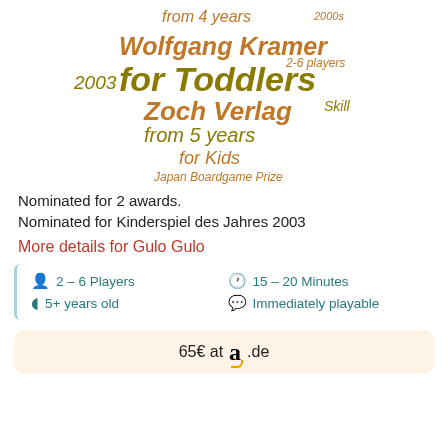[Figure (infographic): Word cloud with terms: from 4 years, 2000s, Wolfgang Kramer, 2-6 players, 2003, for Toddlers, Zoch Verlag, Skill, from 5 years, for Kids, Japan Boardgame Prize — in various orange, yellow, and brown tones and sizes]
Nominated for 2 awards.
Nominated for Kinderspiel des Jahres 2003
More details for Gulo Gulo
2 – 6 Players   15 – 20 Minutes   5+ years old   Immediately playable
65€ at a.de